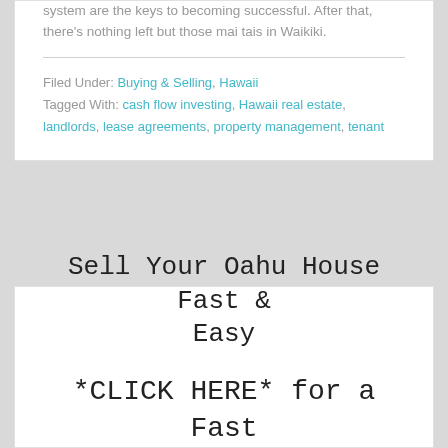system are the keys to becoming successful. After that, there's nothing left but those mai tais in Waikiki.
Filed Under: Buying & Selling, Hawaii
Tagged With: cash flow investing, Hawaii real estate, landlords, lease agreements, property management, tenant
Sell Your Oahu House Fast & Easy
*CLICK HERE* for a Fast Cash Offer!